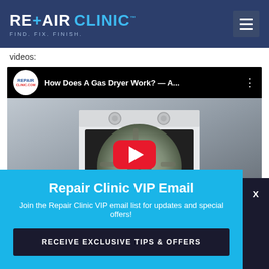REPAIR CLINIC — FIND. FIX. FINISH.
videos:
[Figure (screenshot): YouTube video thumbnail showing 'How Does A Gas Dryer Work? — A...' with a RepairClinic.com logo and a gas dryer image with YouTube play button]
Repair Clinic VIP Email
Join the Repair Clinic VIP email list for updates and special offers!
RECEIVE EXCLUSIVE TIPS & OFFERS